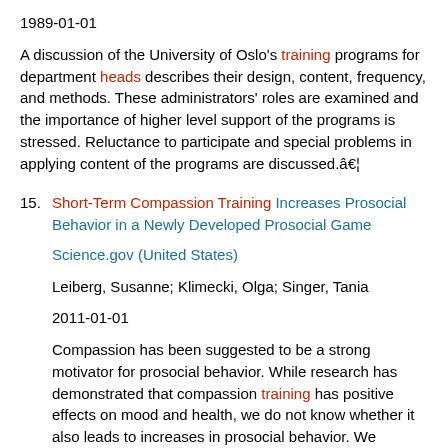1989-01-01
A discussion of the University of Oslo's training programs for department heads describes their design, content, frequency, and methods. These administrators' roles are examined and the importance of higher level support of the programs is stressed. Reluctance to participate and special problems in applying content of the programs are discussed.â€¦
15. Short-Term Compassion Training Increases Prosocial Behavior in a Newly Developed Prosocial Game
Science.gov (United States)
Leiberg, Susanne; Klimecki, Olga; Singer, Tania
2011-01-01
Compassion has been suggested to be a strong motivator for prosocial behavior. While research has demonstrated that compassion training has positive effects on mood and health, we do not know whether it also leads to increases in prosocial behavior. We addressed this question in two experiments. In Experiment 1, we introduce a new prosocial game, the Zurich